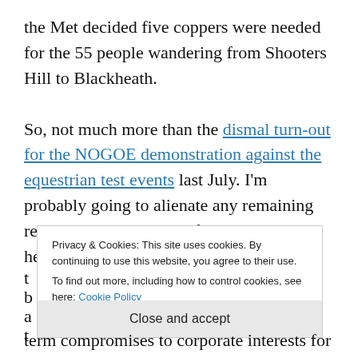the Met decided five coppers were needed for the 55 people wandering from Shooters Hill to Blackheath.
So, not much more than the dismal turn-out for the NOGOE demonstration against the equestrian test events last July. I’m probably going to alienate any remaining readers with this point of view, but hey, here goes – it seems t... b... a... t...
Privacy & Cookies: This site uses cookies. By continuing to use this website, you agree to their use. To find out more, including how to control cookies, see here: Cookie Policy
Close and accept
term compromises to corporate interests for